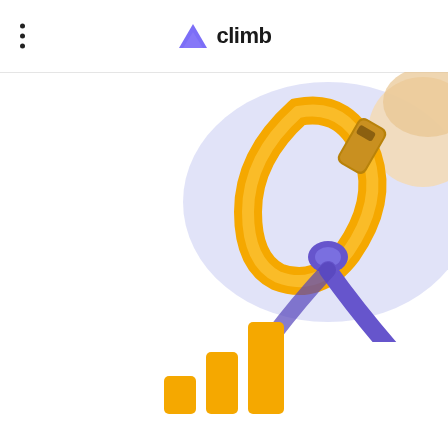climb
[Figure (illustration): Illustration of a carabiner clip with a blue rope knot, set against a soft lavender/blue blob background, positioned in the upper right area of the page.]
[Figure (bar-chart): Three ascending gold/orange bar chart bars at the bottom center of the page, representing a simple ascending bar chart decoration.]